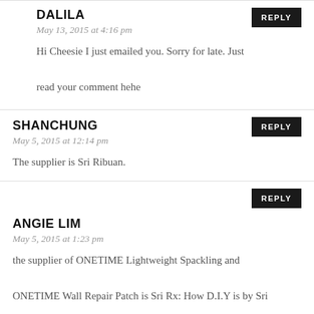DALILA
May 13, 2015 at 4:16 pm
Hi Cheesie I just emailed you. Sorry for late. Just read your comment hehe
SHANCHUNG
May 5, 2015 at 12:14 pm
The supplier is Sri Ribuan.
ANGIE LIM
May 5, 2015 at 1:23 pm
the supplier of ONETIME Lightweight Spackling and ONETIME Wall Repair Patch is Sri Rx: How D.I.Y is by Sri